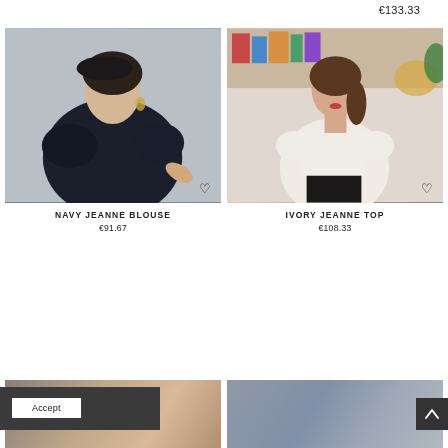€133.33
[Figure (photo): Woman wearing navy blouse with puffed sleeves against a light grey background]
NAVY JEANNE BLOUSE
€91.67
[Figure (photo): Woman wearing ivory top with short sleeves, sitting in a room with bookshelves]
IVORY JEANNE TOP
€108.33
[Figure (photo): Partial view of product below, partially obscured by cookie banner]
[Figure (photo): Partial view of second product below, grey-blue tones]